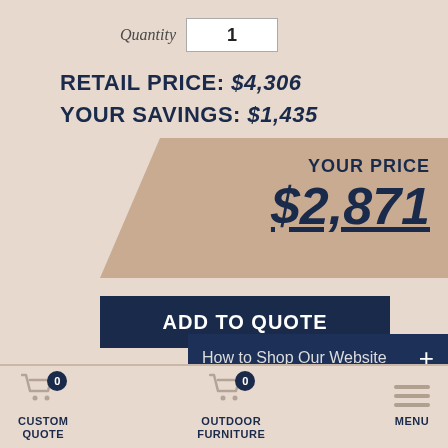Quantity  1
RETAIL PRICE: $4,306
YOUR SAVINGS: $1,435
YOUR PRICE $2,871
ADD TO QUOTE
How to Shop Our Website +
CUSTOM QUOTE  0
OUTDOOR FURNITURE  0
MENU